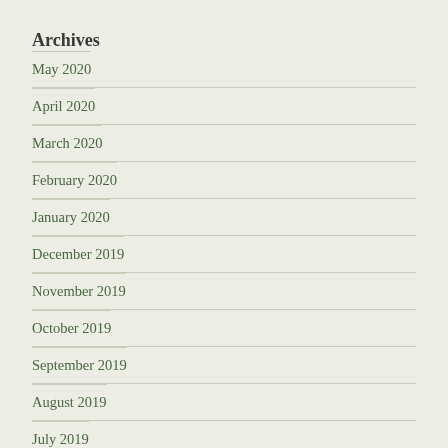Archives
May 2020
April 2020
March 2020
February 2020
January 2020
December 2019
November 2019
October 2019
September 2019
August 2019
July 2019
June 2019
May 2019